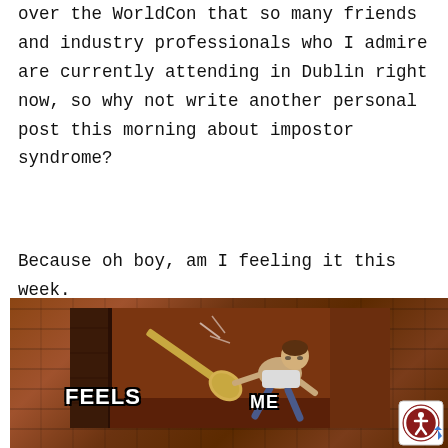over the WorldCon that so many friends and industry professionals who I admire are currently attending in Dublin right now, so why not write another personal post this morning about impostor syndrome?
Because oh boy, am I feeling it this week.
[Figure (illustration): A meme from the animated movie Tangled showing a character being hit with a frying pan. Text labels read 'FEELS' (on the left, pointing to the pan/force) and 'ME' (on the right, pointing to the character being hit). An accessibility icon overlay appears in the bottom right corner.]